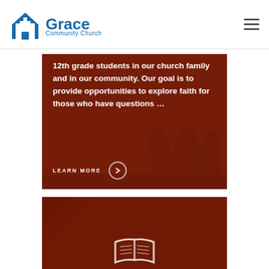Grace Community Church
[Figure (photo): Red-tinted photo card showing running legs with overlaid white text: '12th grade students in our church family and in our community. Our goal is to provide opportunities to explore faith for those who have questions ...' and a LEARN MORE button with arrow circle]
[Figure (photo): Red-tinted photo card (partially visible at bottom) showing a book/Bible icon outline]